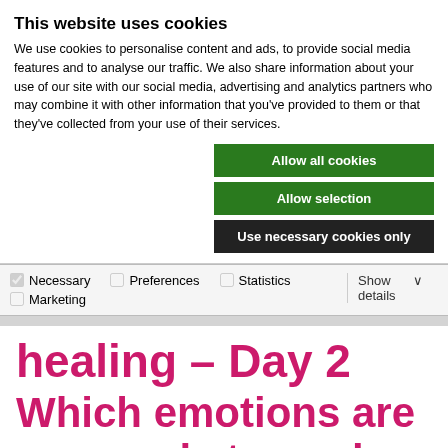This website uses cookies
We use cookies to personalise content and ads, to provide social media features and to analyse our traffic. We also share information about your use of our site with our social media, advertising and analytics partners who may combine it with other information that you've provided to them or that they've collected from your use of their services.
Allow all cookies
Allow selection
Use necessary cookies only
Necessary  Preferences  Statistics  Marketing  Show details
healing – Day 2 Which emotions are you ready to work on?
Okay, I suppose you already have that neat little